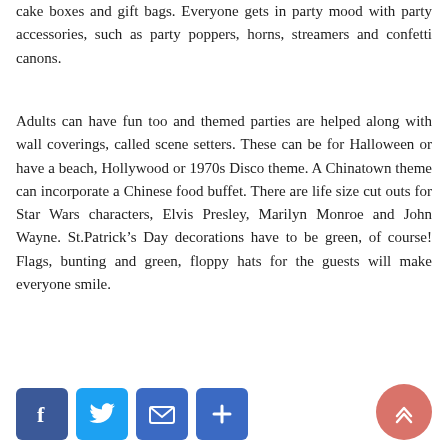cake boxes and gift bags. Everyone gets in party mood with party accessories, such as party poppers, horns, streamers and confetti canons.
Adults can have fun too and themed parties are helped along with wall coverings, called scene setters. These can be for Halloween or have a beach, Hollywood or 1970s Disco theme. A Chinatown theme can incorporate a Chinese food buffet. There are life size cut outs for Star Wars characters, Elvis Presley, Marilyn Monroe and John Wayne. St.Patrick's Day decorations have to be green, of course! Flags, bunting and green, floppy hats for the guests will make everyone smile.
[Figure (other): Social sharing buttons: Facebook, Twitter, Email, Add/More, and a scroll-to-top button]